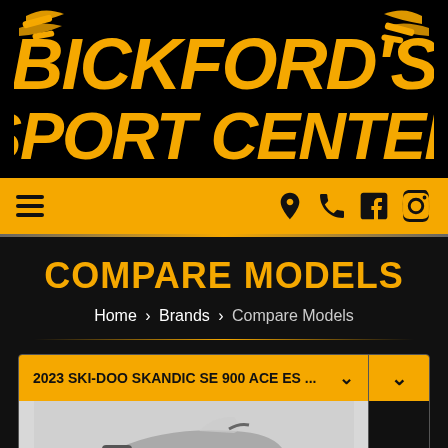[Figure (logo): Bickford's Sport Center logo with yellow stylized text on black background with decorative wing/flag elements]
Navigation bar with hamburger menu and icons for location, phone, Facebook, Instagram
COMPARE MODELS
Home > Brands > Compare Models
2023 SKI-DOO SKANDIC SE 900 ACE ES ...